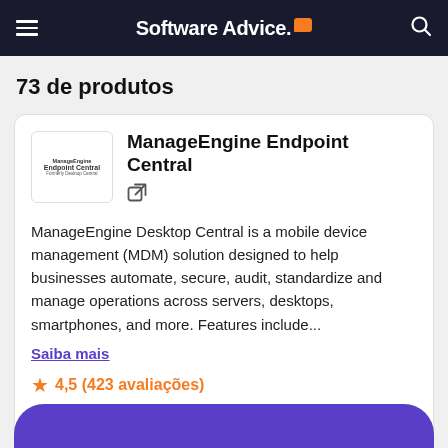Software Advice
73 de produtos
ManageEngine Endpoint Central
ManageEngine Desktop Central is a mobile device management (MDM) solution designed to help businesses automate, secure, audit, standardize and manage operations across servers, desktops, smartphones, and more. Features include...
Saiba mais
4,5 (423 avaliações)
Comparar